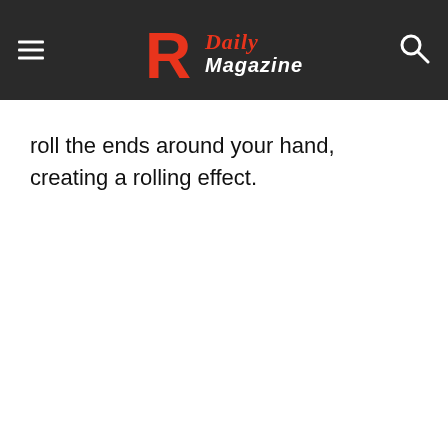R Daily Magazine
roll the ends around your hand, creating a rolling effect.